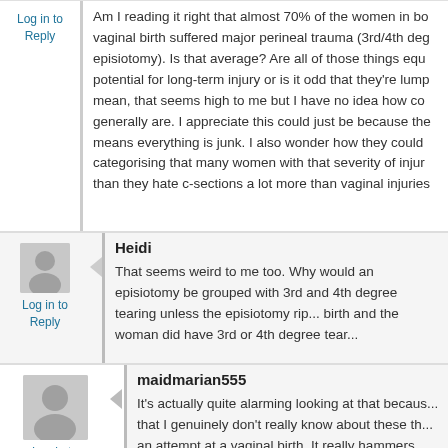Am I reading it right that almost 70% of the women in bo vaginal birth suffered major perineal trauma (3rd/4th deg episiotomy). Is that average? Are all of those things equ potential for long-term injury or is it odd that they're lump mean, that seems high to me but I have no idea how co generally are. I appreciate this could just be because the means everything is junk. I also wonder how they could categorising that many women with that severity of injur than they hate c-sections a lot more than vaginal injuries
Log in to Reply
[Figure (illustration): Default user avatar placeholder - grey silhouette]
Log in to Reply
Heidi
That seems weird to me too. Why would an episiotomy be grouped with 3rd and 4th degree tearing unless the episiotomy rip... birth and the woman did have 3rd or 4th degree tear...
[Figure (illustration): Default user avatar placeholder - grey silhouette, larger]
Log in to Reply
maidmarian555
It's actually quite alarming looking at that becaus... that I genuinely don't really know about these th... an attempt at a vaginal birth. It really hammers...